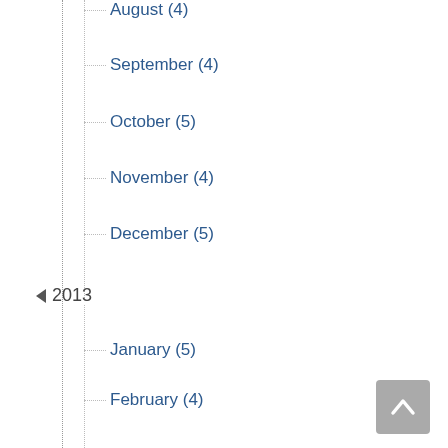August (4)
September (4)
October (5)
November (4)
December (5)
2013
January (5)
February (4)
March (4)
April (5)
May (4)
June (4)
July (5)
August (4)
September (4)
October (5)
November (5)
December (5)